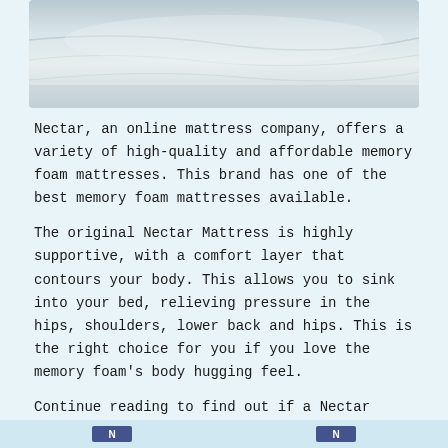[Figure (photo): Close-up photo of a white mattress with white bedding/sheets, showing a soft and smooth surface with subtle folds.]
Nectar, an online mattress company, offers a variety of high-quality and affordable memory foam mattresses. This brand has one of the best memory foam mattresses available.
The original Nectar Mattress is highly supportive, with a comfort layer that contours your body. This allows you to sink into your bed, relieving pressure in the hips, shoulders, lower back and hips. This is the right choice for you if you love the memory foam's body hugging feel.
Continue reading to find out if a Nectar mattress worth the investment. We'll go through who Nectar mattresses are for, mattress performance, construction, pricing and sizing, and more.
[Figure (logo): Partial logos visible at the bottom of the page, appear to be navigation or brand icons in dark blue color.]